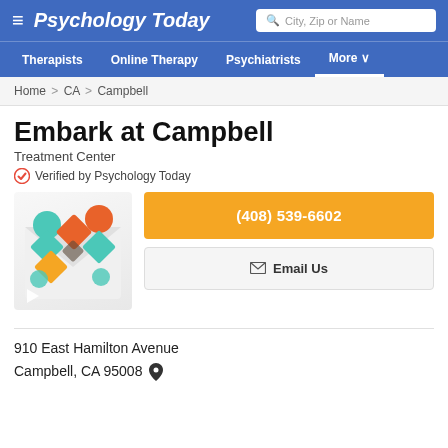Psychology Today
Home > CA > Campbell
Embark at Campbell
Treatment Center
Verified by Psychology Today
[Figure (logo): Embark at Campbell logo: colorful geometric shapes (teal, orange, yellow, green circles and diamonds arranged in a pinwheel pattern) on a light background]
(408) 539-6602
Email Us
910 East Hamilton Avenue
Campbell, CA 95008